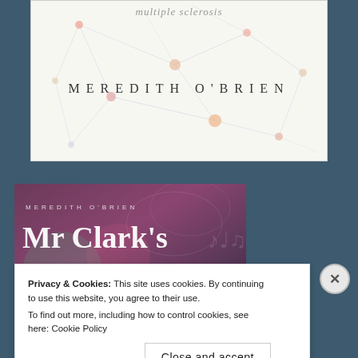[Figure (illustration): Book cover showing a neural/network pattern on white background with italic subtitle 'multiple sclerosis' and author name 'MEREDITH O'BRIEN' in spaced capitals]
[Figure (illustration): Book cover for 'Mr Clark's' by Meredith O'Brien, dark purple/maroon background with musical notes motif, large bold white title text]
Privacy & Cookies: This site uses cookies. By continuing to use this website, you agree to their use. To find out more, including how to control cookies, see here: Cookie Policy
Close and accept